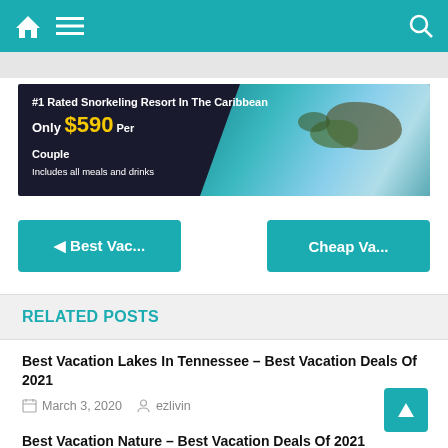Navigation bar with home, menu, and search icons
[Figure (infographic): Banner ad: #1 Rated Snorkeling Resort In The Caribbean. Only $590 Per Couple. Includes all meals and drinks. Background shows aerial view of Caribbean resort with ocean and rock formations.]
◄ Best Vac...
Cheap Va...
RELATED POSTS
Best Vacation Lakes In Tennessee – Best Vacation Deals Of 2021
March 3, 2020   ezlivin
Best Vacation Nature – Best Vacation Deals Of 2021